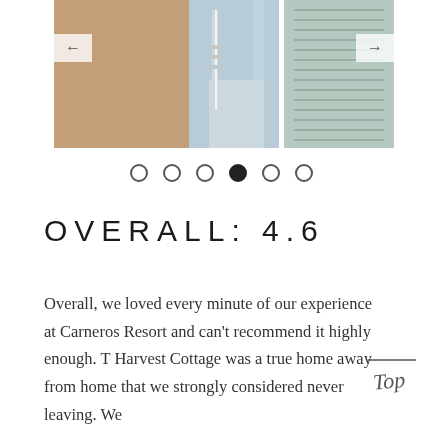[Figure (photo): Interior photo of a glass-enclosed shower/bathroom at Carneros Resort, showing chrome fixtures and shuttered windows. Left and right navigation arrows visible.]
[Figure (other): Carousel dot navigation: 6 dots, 4th dot filled black indicating current image position.]
OVERALL: 4.6
Overall, we loved every minute of our experience at Carneros Resort and can't recommend it highly enough. T Harvest Cottage was a true home away from home that we strongly considered never leaving. We
[Figure (illustration): Handwritten-style 'Top' badge/logo in cursive script with a line above it.]